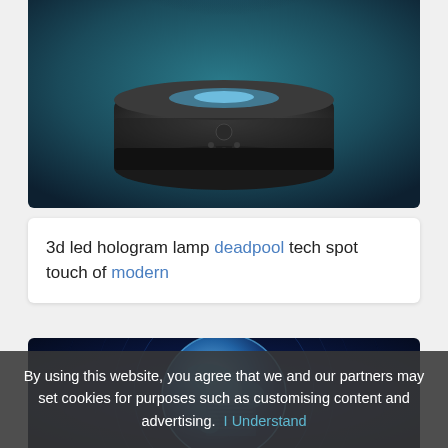[Figure (photo): Top portion of a 3D LED hologram lamp with a dark cylindrical base, glowing blue light from the top, on a teal/dark background.]
3d led hologram lamp deadpool tech spot touch of modern
[Figure (photo): A glowing blue holographic globe composed of digital data points and lines, on a dark navy background with circular wave patterns.]
By using this website, you agree that we and our partners may set cookies for purposes such as customising content and advertising. I Understand